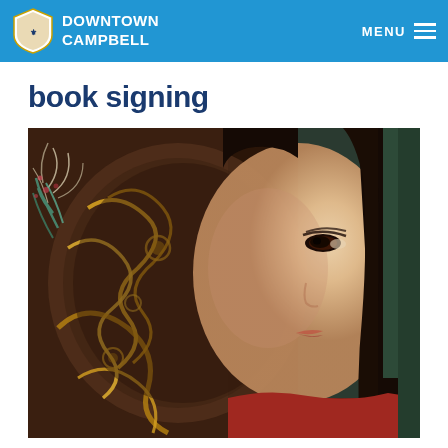DOWNTOWN CAMPBELL | MENU
book signing
[Figure (photo): Close-up portrait of an Asian woman with dark hair, partially obscured by ornate decorative artwork featuring golden dragon motifs and colorful floral designs on a dark background. The woman wears a red garment.]